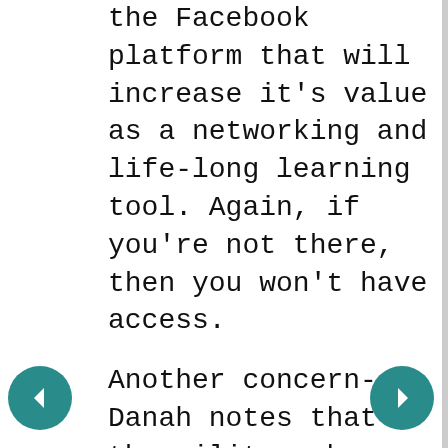the Facebook platform that will increase it's value as a networking and life-long learning tool. Again, if you're not there, then you won't have access.
Another concern--Danah notes that the military has recently banned use of MySpace (the online home of most enlisted personnel) but not Facebook, where officers tend to congregate. Again, one of the beauties of the web is its ability to allow for a collective voice and collective action. Yet, just as we find that the disenfranchised are silenced in physical space, it seems that its happening in the digital world.